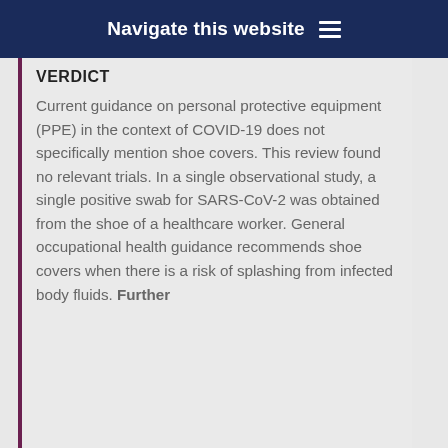Navigate this website
VERDICT
Current guidance on personal protective equipment (PPE) in the context of COVID-19 does not specifically mention shoe covers. This review found no relevant trials. In a single observational study, a single positive swab for SARS-CoV-2 was obtained from the shoe of a healthcare worker. General occupational health guidance recommends shoe covers when there is a risk of splashing from infected body fluids. Further